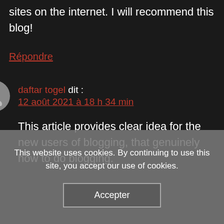sites on the internet. I will recommend this blog!
Répondre
daftar togel dit : 12 août 2021 à 18 h 34 min
This article provides clear idea for the new users of blogging, that genuinely how to do blogging.
This website uses cookies. By continuing to use this site, you accept our use of cookies.
Accepter